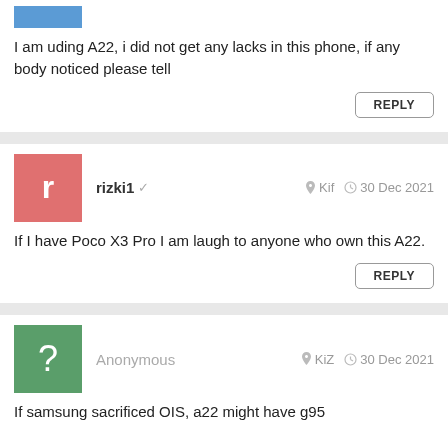[Figure (illustration): Blue avatar square (partial/cropped at top)]
I am uding A22, i did not get any lacks in this phone, if any body noticed please tell
REPLY
rizki1  Kif  30 Dec 2021
If I have Poco X3 Pro I am laugh to anyone who own this A22.
REPLY
Anonymous  KiZ  30 Dec 2021
If samsung sacrificed OIS, a22 might have g95